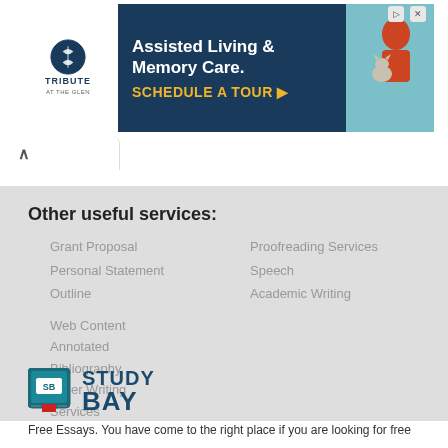[Figure (other): Advertisement banner for 'Tribute at the Glen' assisted living and memory care, with a navy blue background, white logo section, gold call-to-action 'SCHEDULE A TOUR ▶', and a photo of an elderly person with a cat.]
Other useful services:
Grant Proposal
Personal Statement
Outline
Proofreading Services
Speech
Academic Writing
Web Content
Annotated Bibliography
Other Writing Services
[Figure (logo): StudyBay logo: a teal book icon with 'SB' label and the text 'STUDY BAY' in dark navy blue.]
Free Essays. You have come to the right place if you are looking for free